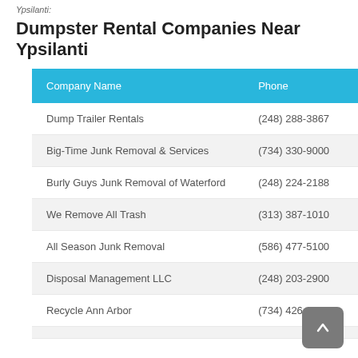Ypsilanti:
Dumpster Rental Companies Near Ypsilanti
| Company Name | Phone |
| --- | --- |
| Dump Trailer Rentals | (248) 288-3867 |
| Big-Time Junk Removal & Services | (734) 330-9000 |
| Burly Guys Junk Removal of Waterford | (248) 224-2188 |
| We Remove All Trash | (313) 387-1010 |
| All Season Junk Removal | (586) 477-5100 |
| Disposal Management LLC | (248) 203-2900 |
| Recycle Ann Arbor | (734) 426-2280 |